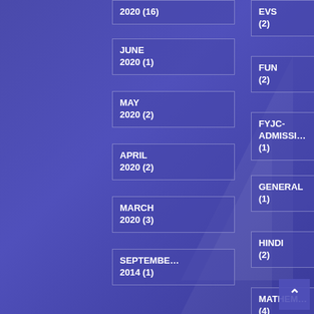2020 (16)
JUNE 2020 (1)
MAY 2020 (2)
APRIL 2020 (2)
MARCH 2020 (3)
SEPTEMBER 2014 (1)
EVS (2)
FUN (2)
FYJC-ADMISSIONS (1)
GENERAL (1)
HINDI (2)
MATHEMATICS (4)
First Merit List for AIDED and UN-AIDED Section Minor and In-House Quota
July 28, 2022